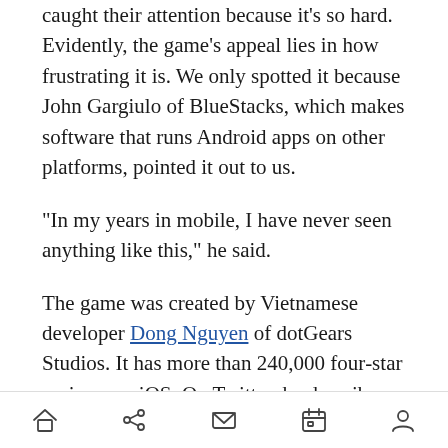caught their attention because it’s so hard. Evidently, the game’s appeal lies in how frustrating it is. We only spotted it because John Gargiulo of BlueStacks, which makes software that runs Android apps on other platforms, pointed it out to us.
“In my years in mobile, I have never seen anything like this,” he said.
The game was created by Vietnamese developer Dong Nguyen of dotGears Studios. It has more than 240,000 four-star reviews on iOS. On Twitter, he describes himself as a “passionate indie game maker,” and says he lives in Hanoi. According to AppAnnie, the game was uploaded on May 24,
home share mail calendar profile